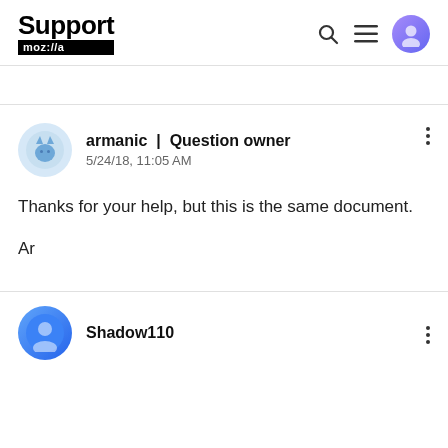Support moz://a
armanic | Question owner
5/24/18, 11:05 AM
Thanks for your help, but this is the same document.
Ar
Shadow110